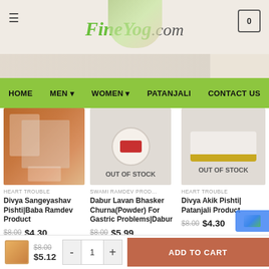[Figure (screenshot): FineYog.com website header with logo showing herb and mortar graphic, hamburger menu icon, cart icon with 0]
FineYog.Com
HOME   MEN   WOMEN   PATANJALI   CONTACT US
HEART TROUBLE
Divya Sangeyashav Pishti|Baba Ramdev Product
$8.00  $4.30
SWAMI RAMDEV PROD...
Dabur Lavan Bhasker Churna(Powder) For Gastric Problems|Dabur
$8.00  $5.99
HEART TROUBLE
Divya Akik Pishti| Patanjali Product
$8.00  $4.30
$8.00  $5.12
- 1 +
ADD TO CART